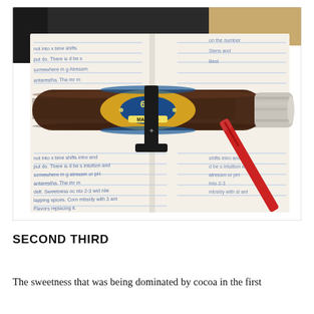[Figure (photo): A 601 Maduro cigar resting on a black cigar holder/stand, placed on top of an open notebook with handwritten notes. A red pen is visible to the right. The notebook pages are filled with cursive writing. The cigar has a yellow and blue band reading '601 Maduro'. The ash end of the cigar is visible on the right side.]
SECOND THIRD
The sweetness that was being dominated by cocoa in the first